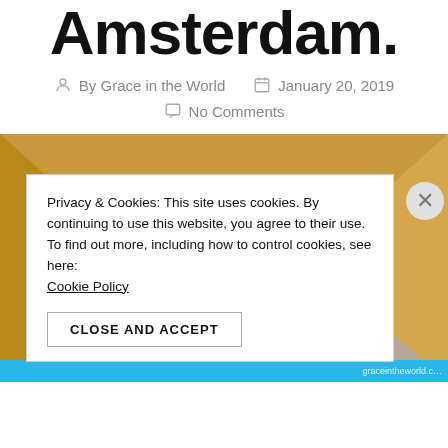Amsterdam.
By Grace in the World   January 20, 2019
No Comments
[Figure (photo): Close-up of a gold picture frame against a brown/tan wall, with a dark painting partially visible inside the frame. A blue banner is visible at the very bottom.]
Privacy & Cookies: This site uses cookies. By continuing to use this website, you agree to their use.
To find out more, including how to control cookies, see here:
Cookie Policy
CLOSE AND ACCEPT